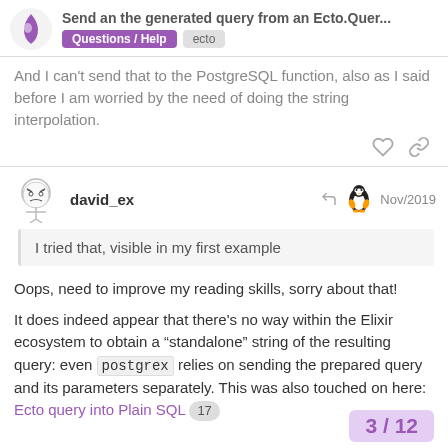Send an the generated query from an Ecto.Quer... | Questions / Help | ecto
And I can't send that to the PostgreSQL function, also as I said before I am worried by the need of doing the string interpolation.
david_ex — Nov/2019
I tried that, visible in my first example
Oops, need to improve my reading skills, sorry about that!
It does indeed appear that there's no way within the Elixir ecosystem to obtain a “standalone” string of the resulting query: even postgrex relies on sending the prepared query and its parameters separately. This was also touched on here: Ecto query into Plain SQL 17
3 / 12